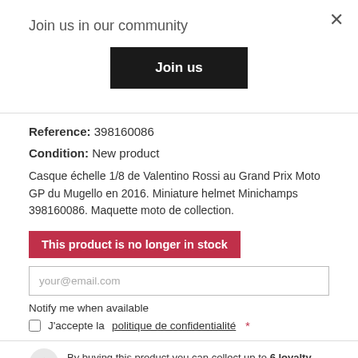Join us in our community
Join us
Reference: 398160086
Condition: New product
Casque échelle 1/8 de Valentino Rossi au Grand Prix Moto GP du Mugello en 2016. Miniature helmet Minichamps 398160086. Maquette moto de collection.
This product is no longer in stock
your@email.com
Notify me when available
J'accepte la politique de confidentialité *
By buying this product you can collect up to 6 loyalty points. Your